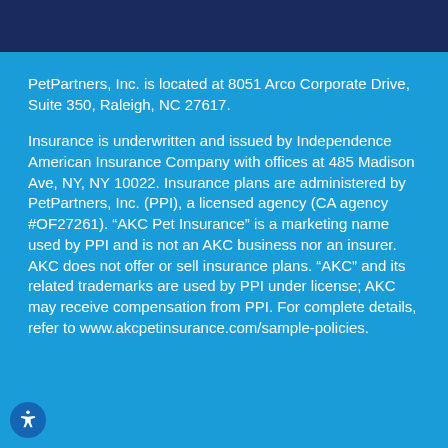PetPartners, Inc. is located at 8051 Arco Corporate Drive, Suite 350, Raleigh, NC 27617.
Insurance is underwritten and issued by Independence American Insurance Company with offices at 485 Madison Ave, NY, NY 10022. Insurance plans are administered by PetPartners, Inc. (PPI), a licensed agency (CA agency #OF27261). “AKC Pet Insurance” is a marketing name used by PPI and is not an AKC business nor an insurer. AKC does not offer or sell insurance plans. “AKC” and its related trademarks are used by PPI under license; AKC may receive compensation from PPI. For complete details, refer to www.akcpetinsurance.com/sample-policies.